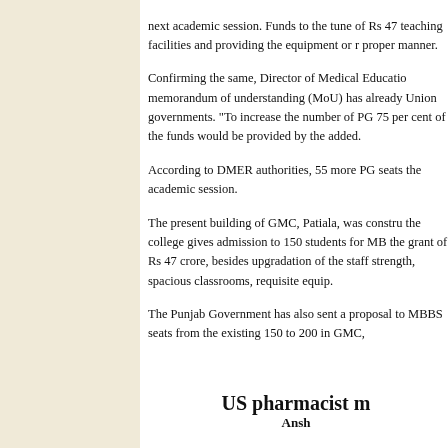next academic session. Funds to the tune of Rs 47 teaching facilities and providing the equipment or proper manner.
Confirming the same, Director of Medical Education memorandum of understanding (MoU) has already Union governments. "To increase the number of PG 75 per cent of the funds would be provided by the added.
According to DMER authorities, 55 more PG seats the academic session.
The present building of GMC, Patiala, was constructed the college gives admission to 150 students for MB the grant of Rs 47 crore, besides upgradation of the staff strength, spacious classrooms, requisite equip.
The Punjab Government has also sent a proposal to MBBS seats from the existing 150 to 200 in GMC,
US pharmacist m
Ansh
Ludhiana, February 27